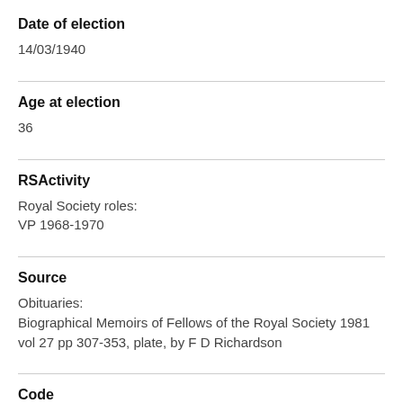Date of election
14/03/1940
Age at election
36
RSActivity
Royal Society roles:
VP 1968-1970
Source
Obituaries:
Biographical Memoirs of Fellows of the Royal Society 1981 vol 27 pp 307-353, plate, by F D Richardson
Code